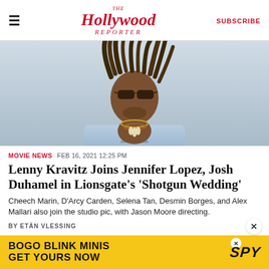The Hollywood Reporter | SUBSCRIBE
[Figure (photo): Lenny Kravitz wearing sunglasses, dreadlocks, layered necklaces and an open denim shirt]
MOVIE NEWS   FEB 16, 2021 12:25 PM
Lenny Kravitz Joins Jennifer Lopez, Josh Duhamel in Lionsgate's 'Shotgun Wedding'
Cheech Marin, D'Arcy Carden, Selena Tan, Desmin Borges, and Alex Mallari also join the studio pic, with Jason Moore directing.
BY ETÄN VLESSING
[Figure (infographic): Advertisement banner: BOGO BLINK MINIS GET YOURS NOW with SPY logo on yellow background]